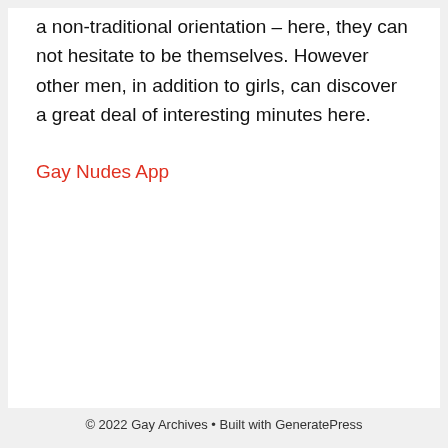a non-traditional orientation – here, they can not hesitate to be themselves. However other men, in addition to girls, can discover a great deal of interesting minutes here.
Gay Nudes App
© 2022 Gay Archives • Built with GeneratePress